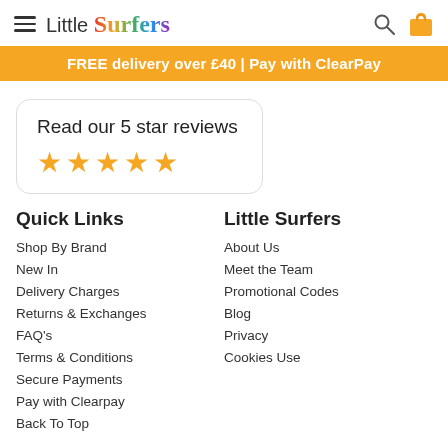Little Surfers
FREE delivery over £40 | Pay with ClearPay
Read our 5 star reviews ★★★★★
Quick Links
Shop By Brand
New In
Delivery Charges
Returns & Exchanges
FAQ's
Terms & Conditions
Secure Payments
Pay with Clearpay
Back To Top
Little Surfers
About Us
Meet the Team
Promotional Codes
Blog
Privacy
Cookies Use